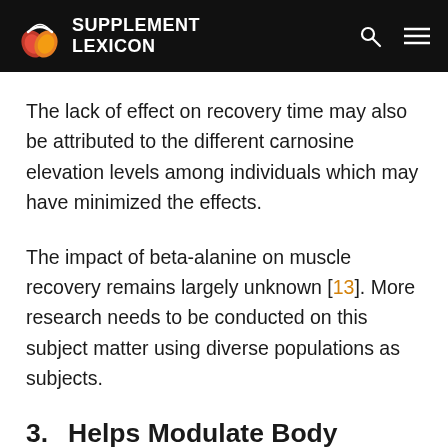SUPPLEMENT LEXICON
The lack of effect on recovery time may also be attributed to the different carnosine elevation levels among individuals which may have minimized the effects.
The impact of beta-alanine on muscle recovery remains largely unknown [13]. More research needs to be conducted on this subject matter using diverse populations as subjects.
3.    Helps Modulate Body Composition.